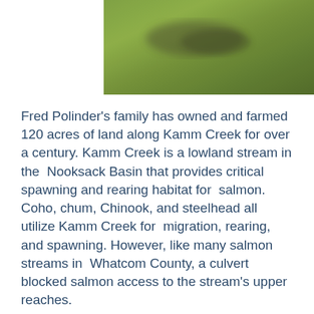[Figure (photo): A blurred outdoor photograph showing green grass or vegetation field, taken from above or at an angle.]
Fred Polinder's family has owned and farmed 120 acres of land along Kamm Creek for over a century. Kamm Creek is a lowland stream in the Nooksack Basin that provides critical spawning and rearing habitat for salmon. Coho, chum, Chinook, and steelhead all utilize Kamm Creek for migration, rearing, and spawning. However, like many salmon streams in Whatcom County, a culvert blocked salmon access to the stream's upper reaches.